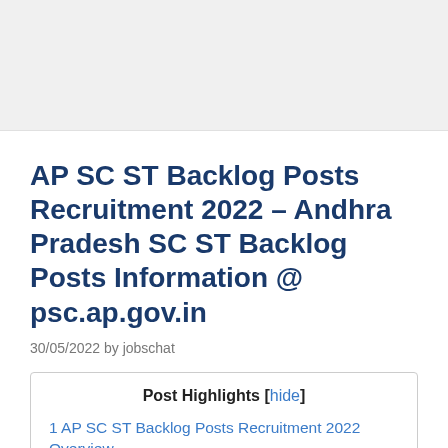[Figure (other): Advertisement banner placeholder at top of page]
AP SC ST Backlog Posts Recruitment 2022 – Andhra Pradesh SC ST Backlog Posts Information @ psc.ap.gov.in
30/05/2022 by jobschat
Post Highlights [hide]
1 AP SC ST Backlog Posts Recruitment 2022 Overview